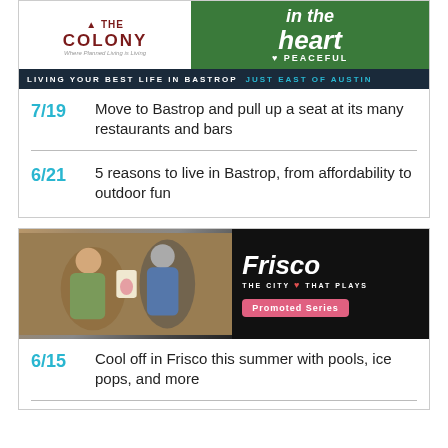[Figure (illustration): The Colony advertisement banner showing logo on white left and 'in the heart PEACEFUL' on green right, with dark blue banner reading 'LIVING YOUR BEST LIFE IN BASTROP JUST EAST OF AUSTIN']
7/19  Move to Bastrop and pull up a seat at its many restaurants and bars
6/21  5 reasons to live in Bastrop, from affordability to outdoor fun
[Figure (illustration): Frisco city advertisement banner showing two women at an art studio on left, and Frisco THE CITY THAT PLAYS branding with Promoted Series button on dark right]
6/15  Cool off in Frisco this summer with pools, ice pops, and more